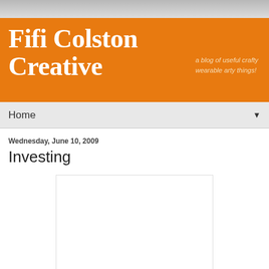[Figure (logo): Fifi Colston Creative blog header banner with orange background, large white rounded text reading 'Fifi Colston Creative' and subtitle 'a blog of useful crafty wearable arty things!']
Home ▼
Wednesday, June 10, 2009
Investing
[Figure (other): White image placeholder box with thin border]